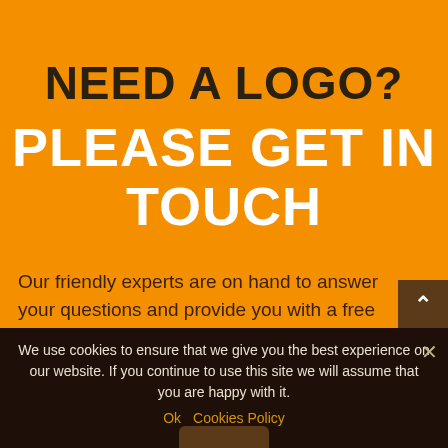NEED A LOGO? PLEASE GET IN TOUCH
Our friendly experts are on hand to answer your questions and provide you with a free
touch today
We use cookies to ensure that we give you the best experience on our website. If you continue to use this site we will assume that you are happy with it.
Ok   Cookies Policy